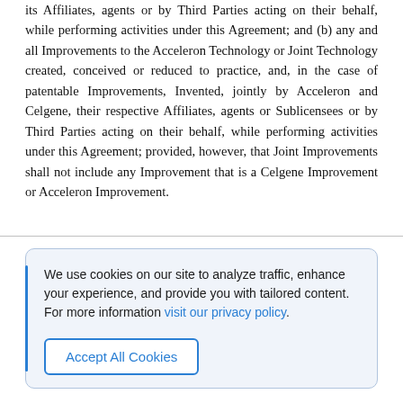its Affiliates, agents or by Third Parties acting on their behalf, while performing activities under this Agreement; and (b) any and all Improvements to the Acceleron Technology or Joint Technology created, conceived or reduced to practice, and, in the case of patentable Improvements, Invented, jointly by Acceleron and Celgene, their respective Affiliates, agents or Sublicensees or by Third Parties acting on their behalf, while performing activities under this Agreement; provided, however, that Joint Improvements shall not include any Improvement that is a Celgene Improvement or Acceleron Improvement.
We use cookies on our site to analyze traffic, enhance your experience, and provide you with tailored content. For more information visit our privacy policy.